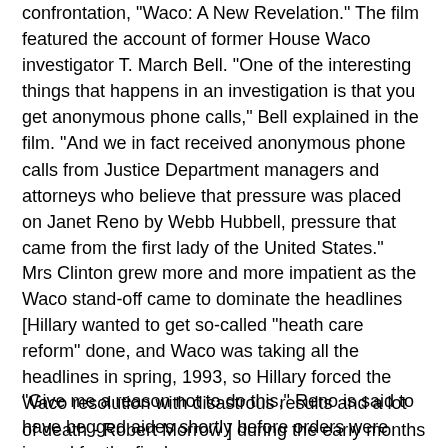confrontation, "Waco: A New Revelation." The film featured the account of former House Waco investigator T. March Bell. "One of the interesting things that happens in an investigation is that you get anonymous phone calls," Bell explained in the film. "And we in fact received anonymous phone calls from Justice Department managers and attorneys who believe that pressure was placed on Janet Reno by Webb Hubbell, pressure that came from the first lady of the United States."
Mrs Clinton grew more and more impatient as the Waco stand-off came to dominate the headlines [Hillary wanted to get so-called "heath care reform" done, and Waco was taking all the headlines in spring, 1993, so Hillary forced the Waco resolution with disastrous results and a lot of death - Robert Morrow ] during the early months of the Clinton administration, said Bell. It was she, according to Bell's sources, who pressured a reluctant Janet Reno to act.
"Give me a reason not to do this," Reno is said to have begged aides shortly before orders were issued for the final